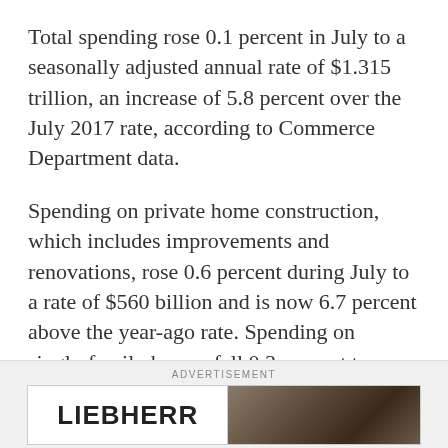Total spending rose 0.1 percent in July to a seasonally adjusted annual rate of $1.315 trillion, an increase of 5.8 percent over the July 2017 rate, according to Commerce Department data.
Spending on private home construction, which includes improvements and renovations, rose 0.6 percent during July to a rate of $560 billion and is now 6.7 percent above the year-ago rate. Spending on single-family homes fell 0.3 percent to a rate of $287 billion, but remains up 6 percent over the July 2017 rate. Multi-family home spending fell 0.4 percent to a rate of $59 billion and is up 1.1 percent over the year-ago rate.
[Figure (other): Advertisement banner with LIEBHERR logo on left and a landscape/construction image on the right]